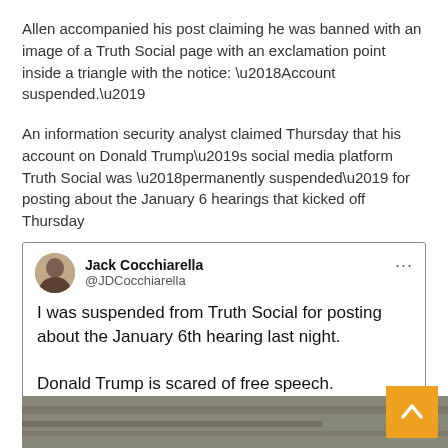Allen accompanied his post claiming he was banned with an image of a Truth Social page with an exclamation point inside a triangle with the notice: ‘Account suspended.’
An information security analyst claimed Thursday that his account on Donald Trump’s social media platform Truth Social was ‘permanently suspended’ for posting about the January 6 hearings that kicked off Thursday
[Figure (screenshot): Embedded tweet from Jack Cocchiarella (@JDCocchiarella) reading: 'I was suspended from Truth Social for posting about the January 6th hearing last night. Donald Trump is scared of free speech.' With a Twitter label at the bottom.]
A Democratic digital strategist also claimed his account was suspended ‘for posting about the January 6th hearings’